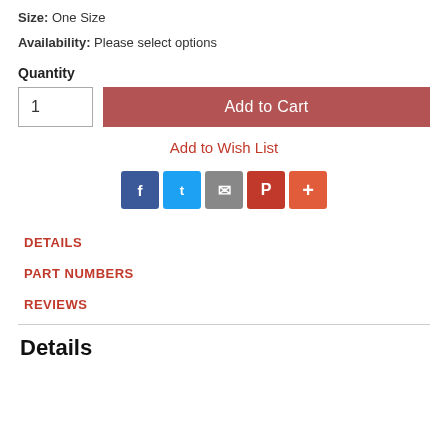Size: One Size
Availability: Please select options
Quantity
1
Add to Cart
Add to Wish List
[Figure (infographic): Social share buttons: Facebook (blue), Twitter (light blue), Email (grey), Pinterest (red), More/Plus (orange-red)]
DETAILS
PART NUMBERS
REVIEWS
Details